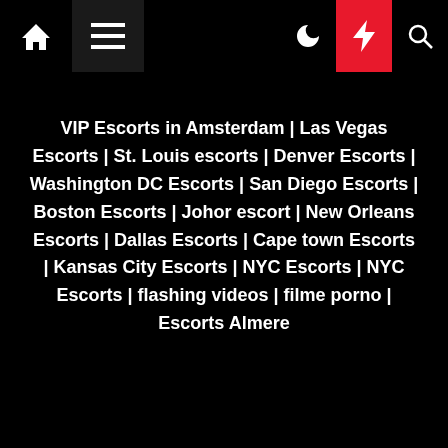Navigation bar with home, menu, moon, bolt, search icons
VIP Escorts in Amsterdam | Las Vegas Escorts | St. Louis escorts | Denver Escorts | Washington DC Escorts | San Diego Escorts | Boston Escorts | Johor escort | New Orleans Escorts | Dallas Escorts | Cape town Escorts | Kansas City Escorts | NYC Escorts | NYC Escorts | flashing videos | filme porno | Escorts Almere
hyderabad escorts
Subscribe US Now